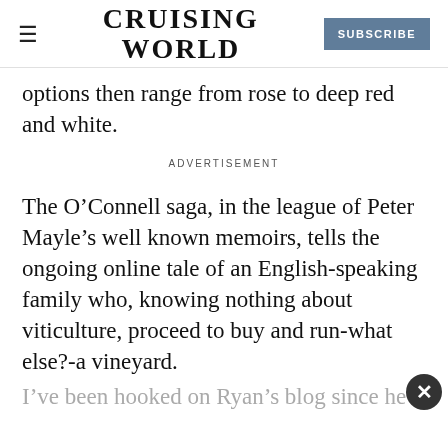CRUISING WORLD | SUBSCRIBE
options then range from rose to deep red and white.
ADVERTISEMENT
The O’Connell saga, in the league of Peter Mayle’s well known memoirs, tells the ongoing online tale of an English-speaking family who, knowing nothing about viticulture, proceed to buy and run-what else?-a vineyard.
I’ve been hooked on Ryan’s blog since he